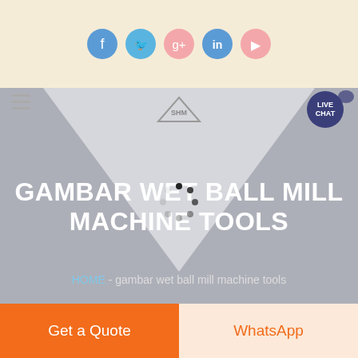[Figure (screenshot): Social media icons bar at top: Facebook, Twitter, Google+, LinkedIn, YouTube circles on cream background]
[Figure (screenshot): Navigation bar with hamburger menu, SHM logo, and Live Chat bubble button]
GAMBAR WET BALL MILL MACHINE TOOLS
HOME  -  gambar wet ball mill machine tools
[Figure (screenshot): Partially visible product image strip at bottom of hero]
Get a Quote
WhatsApp